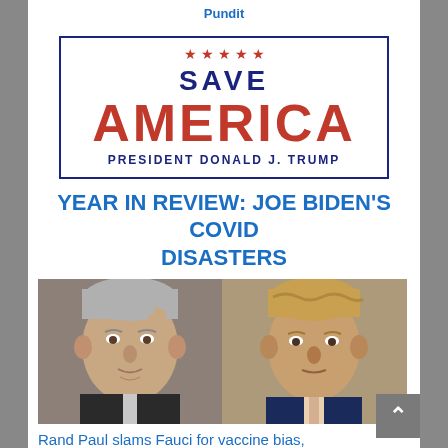Pundit
[Figure (logo): Save America - President Donald J. Trump logo with five red stars, dark blue border, red AMERICA text and blue SAVE text]
YEAR IN REVIEW: JOE BIDEN'S COVID DISASTERS
[Figure (photo): Side-by-side photo of Dr. Anthony Fauci (left, gesturing with finger) and Rand Paul (right) at what appears to be a Senate hearing]
Rand Paul slams Fauci for vaccine bias, blames top doc for thousands of deaths